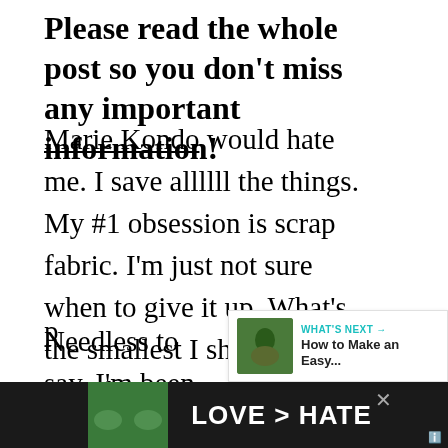Please read the whole post so you don't miss any important information!
Marie Kondo would hate me. I save allllll the things. My #1 obsession is scrap fabric. I'm just not sure when to give it up. What's the smallest I should save? I might NEED a 2" square someday of pretty quilting cotton!
Needless to say, I'm been decluttering, but have not exactly been throwing the things in the garbage. Some pieces get donated to the p...tiny
[Figure (infographic): LOVE > HATE advertisement banner at the bottom of the page, with a photo of hands making a heart shape, black background, white text. Also includes a WHAT'S NEXT panel on the right side and social UI buttons (heart with 2.4K count, share button).]